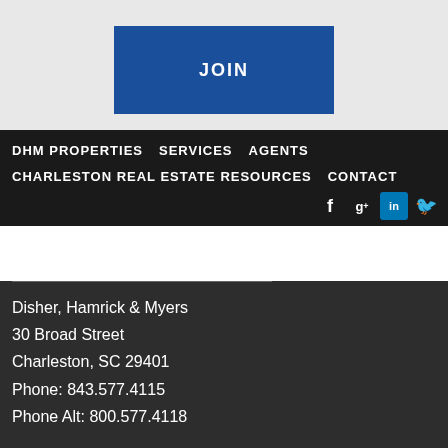JOIN
DHM PROPERTIES   SERVICES   AGENTS
CHARLESTON REAL ESTATE RESOURCES   CONTACT
Disher, Hamrick & Myers
30 Broad Street
Charleston, SC 29401
Phone: 843.577.4115
Phone Alt: 800.577.4118